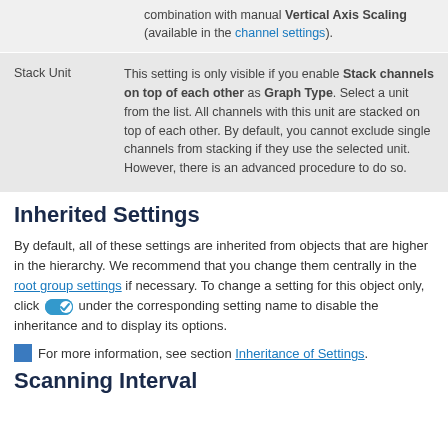combination with manual Vertical Axis Scaling (available in the channel settings).
|  |  |
| --- | --- |
| Stack Unit | This setting is only visible if you enable Stack channels on top of each other as Graph Type. Select a unit from the list. All channels with this unit are stacked on top of each other. By default, you cannot exclude single channels from stacking if they use the selected unit. However, there is an advanced procedure to do so. |
Inherited Settings
By default, all of these settings are inherited from objects that are higher in the hierarchy. We recommend that you change them centrally in the root group settings if necessary. To change a setting for this object only, click [toggle] under the corresponding setting name to disable the inheritance and to display its options.
For more information, see section Inheritance of Settings.
Scanning Interval